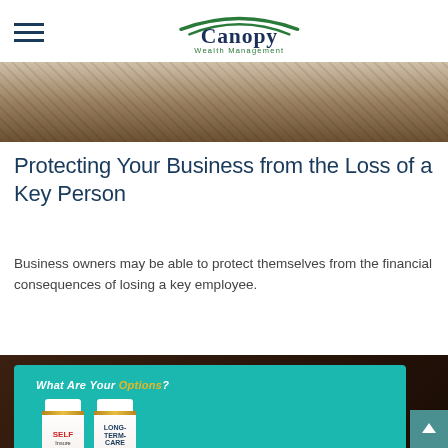Canopy Wealth Management
[Figure (photo): Top photo strip showing a dark, blurred mechanical or bicycle-related background image]
Protecting Your Business from the Loss of a Key Person
Business owners may be able to protect themselves from the financial consequences of losing a key employee.
[Figure (photo): Photo of a tablet device displaying 'What Are Your Options?' with two pill bottles labeled 'SELF Insure' and 'LONG-TERM-CARE Insurance' on a teal background, placed on a dark wooden surface]